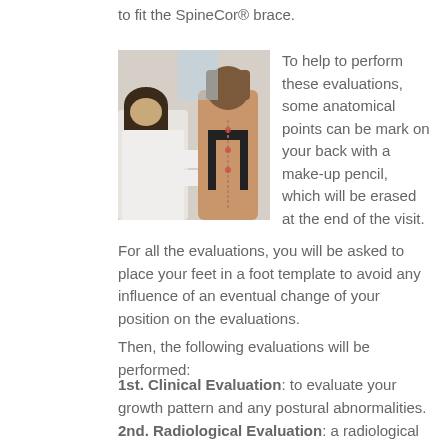to fit the SpineCor® brace.
[Figure (photo): A medical professional examining the back of a patient wearing a black bra, marking anatomical points on the patient's back.]
To help to perform these evaluations, some anatomical points can be mark on your back with a make-up pencil, which will be erased at the end of the visit.
For all the evaluations, you will be asked to place your feet in a foot template to avoid any influence of an eventual change of your position on the evaluations.
Then, the following evaluations will be performed:
1st. Clinical Evaluation: to evaluate your growth pattern and any postural abnormalities.
2nd. Radiological Evaluation: a radiological study is needed to evaluate the type of curve and its potential of